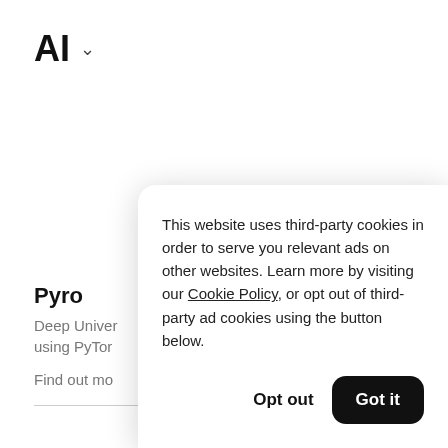AI ˅
Pyro
Deep Univer
using PyTor
Find out mo
This website uses third-party cookies in order to serve you relevant ads on other websites. Learn more by visiting our Cookie Policy, or opt out of third-party ad cookies using the button below.
Opt out
Got it